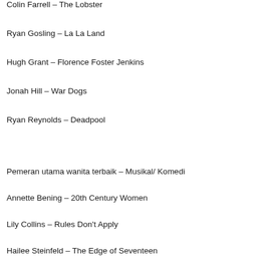Colin Farrell – The Lobster
Ryan Gosling – La La Land
Hugh Grant – Florence Foster Jenkins
Jonah Hill – War Dogs
Ryan Reynolds – Deadpool
Pemeran utama wanita terbaik – Musikal/ Komedi
Annette Bening – 20th Century Women
Lily Collins – Rules Don't Apply
Hailee Steinfeld – The Edge of Seventeen